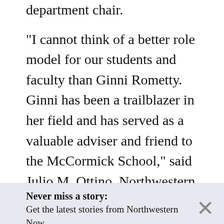department chair. “I cannot think of a better role model for our students and faculty than Ginni Rometty. Ginni has been a trailblazer in her field and has served as a valuable adviser and friend to the McCormick School,” said Julio M. Ottino, Northwestern Engineering dean. “Jessica Hullman is an outstanding inaugural recipient of the chair. Jessica’s pioneering work, in uncertainty visualization and modeling of how
Never miss a story: Get the latest stories from Northwestern Now